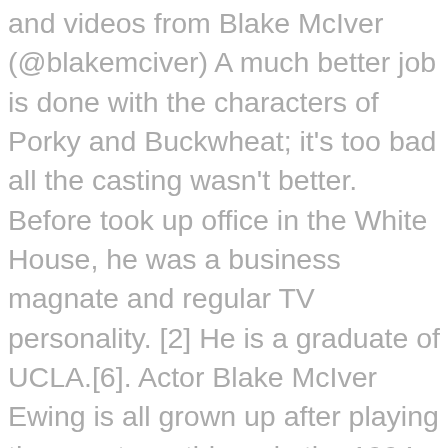and videos from Blake McIver (@blakemciver) A much better job is done with the characters of Porky and Buckwheat; it's too bad all the casting wasn't better. Before took up office in the White House, he was a business magnate and regular TV personality. [2] He is a graduate of UCLA.[6]. Actor Blake McIver Ewing is all grown up after playing the snooty, anti-hero in the 1994 children's flick ... and celebrity gossip. Coming Soon. This series follows the daily life of Tim "The Tool Man" Taylor. "[5], Ewing was nominated for an Ovation Award for his role as "The Little Boy" in the Los Angeles production of Ragtime. Shows. He was known for playing Michelle's friend, Derek, on the sitcom Full House a role he reenacted on Fuller House and played the role of Waldo in the 1994 feature film version of The Little Rascals and voiced Eugene on Hey Arnold! The Best TV Shows and Movies To Watch While in Quarantine; ... Blake McIver Ewing Derek. He is currently one of the hosts of the Bravoseries The P… Self-Care Hair . Travis Tedford Bug Hall Brittany Ashton Holmes Kevin Jamal Woods